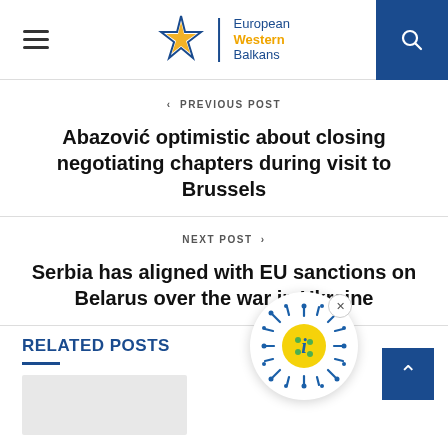European Western Balkans
< PREVIOUS POST
Abazović optimistic about closing negotiating chapters during visit to Brussels
NEXT POST >
Serbia has aligned with EU sanctions on Belarus over the war in Ukraine
RELATED POSTS
[Figure (illustration): Coronavirus-style info icon floating bubble with yellow center and blue spikes, with a close button and a scroll-to-top button]
[Figure (photo): Gray placeholder image for related post thumbnail]